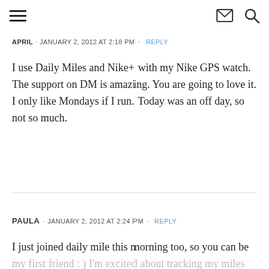[hamburger menu] [envelope icon] [search icon]
APRIL · JANUARY 2, 2012 AT 2:18 PM · REPLY
I use Daily Miles and Nike+ with my Nike GPS watch. The support on DM is amazing. You are going to love it. I only like Mondays if I run. Today was an off day, so not so much.
PAULA · JANUARY 2, 2012 AT 2:24 PM · REPLY
I just joined daily mile this morning too, so you can be my first friend : ) I'm excited about tracking my miles for the year.